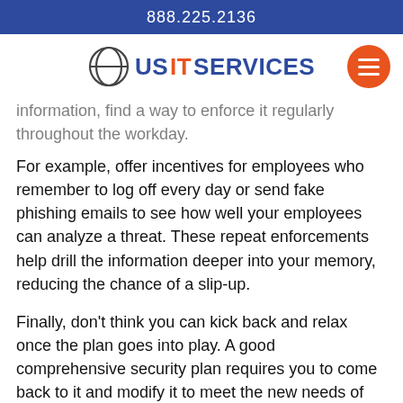888.225.2136
[Figure (logo): US IT Services logo with orange circle icon and hamburger menu button]
information, find a way to enforce it regularly throughout the workday.
For example, offer incentives for employees who remember to log off every day or send fake phishing emails to see how well your employees can analyze a threat. These repeat enforcements help drill the information deeper into your memory, reducing the chance of a slip-up.
Finally, don't think you can kick back and relax once the plan goes into play. A good comprehensive security plan requires you to come back to it and modify it to meet the new needs of your company.
This lets you address weaknesses you missed the first